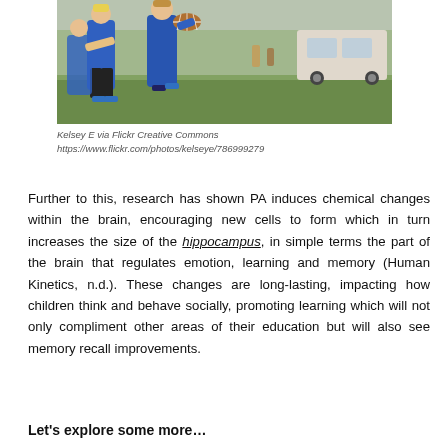[Figure (photo): Children playing rugby/football, one in blue shirt catching a ball while another defends, outdoor grass field setting]
Kelsey E via Flickr Creative Commons
https://www.flickr.com/photos/kelseye/786999279
Further to this, research has shown PA induces chemical changes within the brain, encouraging new cells to form which in turn increases the size of the hippocampus, in simple terms the part of the brain that regulates emotion, learning and memory (Human Kinetics, n.d.). These changes are long-lasting, impacting how children think and behave socially, promoting learning which will not only compliment other areas of their education but will also see memory recall improvements.
Let's explore some more…